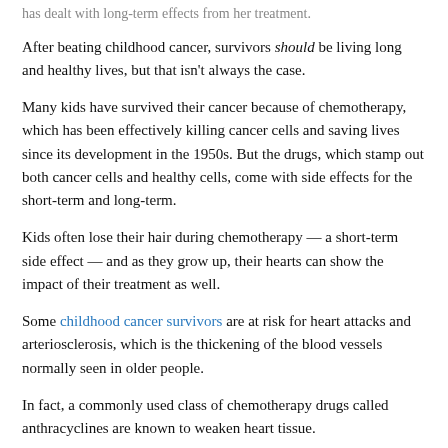has dealt with long-term effects from her treatment.
After beating childhood cancer, survivors should be living long and healthy lives, but that isn't always the case.
Many kids have survived their cancer because of chemotherapy, which has been effectively killing cancer cells and saving lives since its development in the 1950s. But the drugs, which stamp out both cancer cells and healthy cells, come with side effects for the short-term and long-term.
Kids often lose their hair during chemotherapy — a short-term side effect — and as they grow up, their hearts can show the impact of their treatment as well.
Some childhood cancer survivors are at risk for heart attacks and arteriosclerosis, which is the thickening of the blood vessels normally seen in older people.
In fact, a commonly used class of chemotherapy drugs called anthracyclines are known to weaken heart tissue.